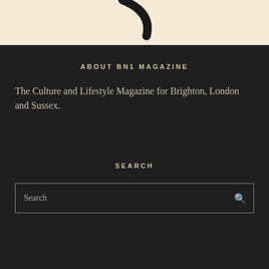[Figure (logo): Partial logo showing a curved black brushstroke against a warm cream/beige background]
ABOUT BN1 MAGAZINE
The Culture and Lifestyle Magazine for Brighton, London and Sussex.
SEARCH
Search